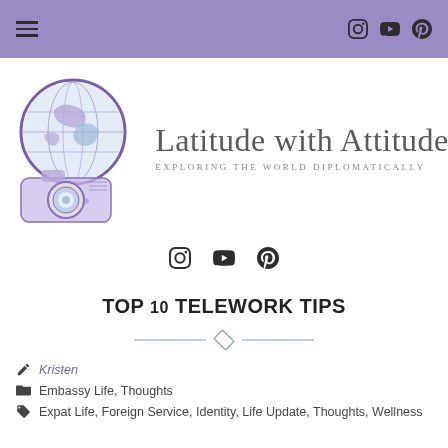Navigation bar with hamburger menu and social icons (Instagram, YouTube, Pinterest)
[Figure (logo): Latitude with Attitude blog logo: watercolor globe and camera illustration with cursive text 'Latitude with Attitude' and subtitle 'Exploring the World Diplomatically']
[Figure (illustration): Social media icons: Instagram, YouTube, Pinterest]
TOP 10 TELEWORK TIPS
Kristen
Embassy Life, Thoughts
Expat Life, Foreign Service, Identity, Life Update, Thoughts, Wellness